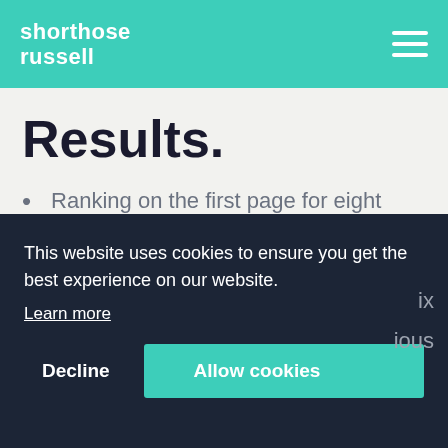shorthose russell
Results.
Ranking on the first page for eight specialist terms in a new business area when previously JD Cooling did not
ix
ious
This website uses cookies to ensure you get the best experience on our website.
Learn more
Decline
Allow cookies